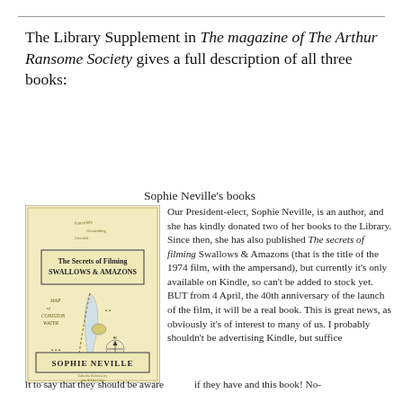The Library Supplement in The magazine of The Arthur Ransome Society gives a full description of all three books:
Sophie Neville's books
[Figure (illustration): Book cover of 'The Secrets of Filming Swallows & Amazons' by Sophie Neville, showing a vintage-style map of Coniston Water with hand-drawn illustrations.]
Our President-elect, Sophie Neville, is an author, and she has kindly donated two of her books to the Library. Since then, she has also published The secrets of filming Swallows & Amazons (that is the title of the 1974 film, with the ampersand), but currently it's only available on Kindle, so can't be added to stock yet. BUT from 4 April, the 40th anniversary of the launch of the film, it will be a real book. This is great news, as obviously it's of interest to many of us. I probably shouldn't be advertising Kindle, but suffice
it to say that they should be aware if they have and this book! No-